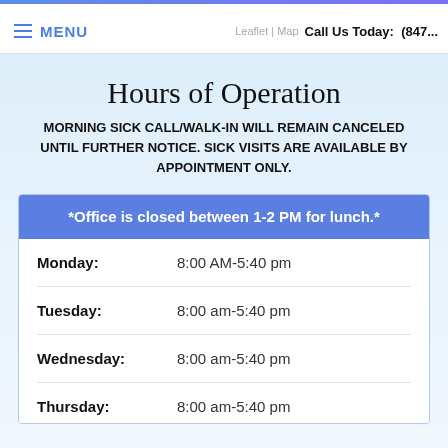≡ MENU   Leaflet | Map   Call Us Today:   (847...
Hours of Operation
MORNING SICK CALL/WALK-IN WILL REMAIN CANCELED UNTIL FURTHER NOTICE. SICK VISITS ARE AVAILABLE BY APPOINTMENT ONLY.
*Office is closed between 1-2 PM for lunch.*
| Day | Hours |
| --- | --- |
| Monday: | 8:00 AM-5:40 pm |
| Tuesday: | 8:00 am-5:40 pm |
| Wednesday: | 8:00 am-5:40 pm |
| Thursday: | 8:00 am-5:40 pm |